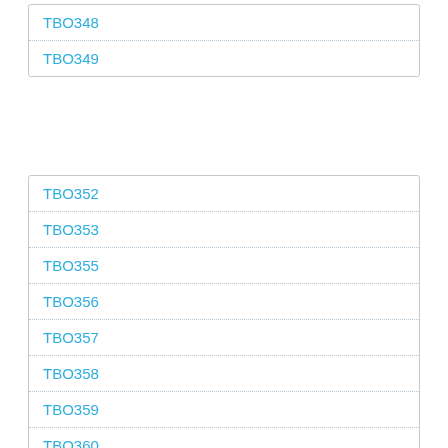TBO348
TBO349
TBO352
TBO353
TBO355
TBO356
TBO357
TBO358
TBO359
TBO360
TBO361
TBO363
TBO367